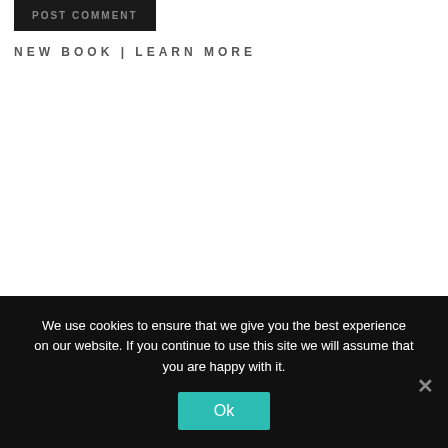[Figure (screenshot): POST COMMENT button — dark background with grey uppercase text]
NEW BOOK | LEARN MORE
We use cookies to ensure that we give you the best experience on our website. If you continue to use this site we will assume that you are happy with it.
Ok